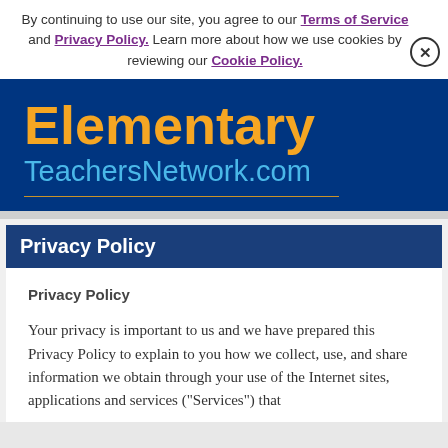By continuing to use our site, you agree to our Terms of Service and Privacy Policy. Learn more about how we use cookies by reviewing our Cookie Policy.
[Figure (logo): Elementary TeachersNetwork.com logo on dark blue background with orange 'Elementary' text and light blue 'TeachersNetwork.com' text]
Privacy Policy
Privacy Policy
Your privacy is important to us and we have prepared this Privacy Policy to explain to you how we collect, use, and share information we obtain through your use of the Internet sites, applications and services ("Services") that